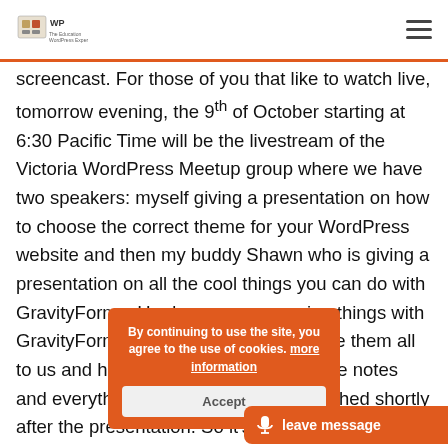WP logo and navigation hamburger menu
screencast. For those of you that like to watch live, tomorrow evening, the 9th of October starting at 6:30 Pacific Time will be the livestream of the Victoria WordPress Meetup group where we have two speakers: myself giving a presentation on how to choose the correct theme for your WordPress website and then my buddy Shawn who is giving a presentation on all the cool things you can do with GravityForms. He does some amazing things with GravityForms and he's gonna showcase them all to us and he's even got a link to his slide notes and everything else which will be published shortly after the presentation. So it's something you'll want to check out and see what we're doing out here on the West Coast of Canada
[Figure (screenshot): Cookie consent overlay with orange background reading 'By continuing to use the site, you agree to the use of cookies. more information' and an Accept button, plus a 'leave message' button in the bottom right corner]